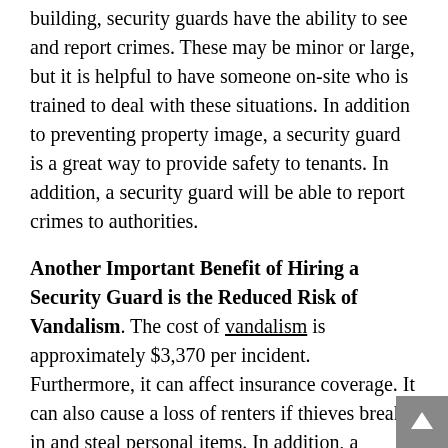building, security guards have the ability to see and report crimes. These may be minor or large, but it is helpful to have someone on-site who is trained to deal with these situations. In addition to preventing property image, a security guard is a great way to provide safety to tenants. In addition, a security guard will be able to report crimes to authorities.
Another Important Benefit of Hiring a Security Guard is the Reduced Risk of Vandalism. The cost of vandalism is approximately $3,370 per incident. Furthermore, it can affect insurance coverage. It can also cause a loss of renters if thieves break in and steal personal items. In addition, a security guard can protect the building from further damage and increase its value. Additionally, he can discourage crimes in the area, which can lower your insurance rates.